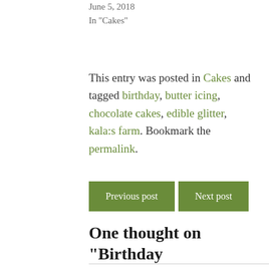June 5, 2018
In "Cakes"
This entry was posted in Cakes and tagged birthday, butter icing, chocolate cakes, edible glitter, kala:s farm. Bookmark the permalink.
Previous post
Next post
One thought on “Birthday Celebrations”